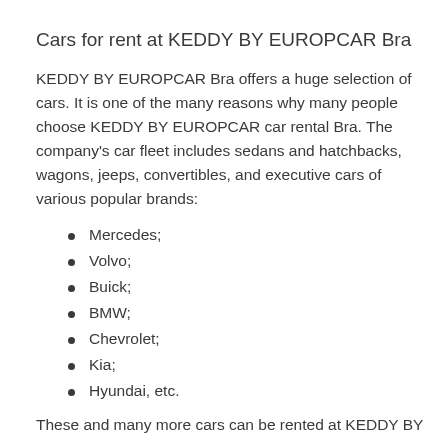Cars for rent at KEDDY BY EUROPCAR Bra
KEDDY BY EUROPCAR Bra offers a huge selection of cars. It is one of the many reasons why many people choose KEDDY BY EUROPCAR car rental Bra. The company's car fleet includes sedans and hatchbacks, wagons, jeeps, convertibles, and executive cars of various popular brands:
Mercedes;
Volvo;
Buick;
BMW;
Chevrolet;
Kia;
Hyundai, etc.
These and many more cars can be rented at KEDDY BY